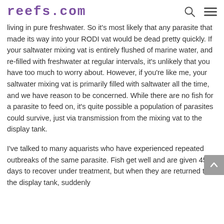reefs.com
living in pure freshwater. So it's most likely that any parasite that made its way into your RODI vat would be dead pretty quickly. If your saltwater mixing vat is entirely flushed of marine water, and re-filled with freshwater at regular intervals, it's unlikely that you have too much to worry about. However, if you're like me, your saltwater mixing vat is primarily filled with saltwater all the time, and we have reason to be concerned. While there are no fish for a parasite to feed on, it's quite possible a population of parasites could survive, just via transmission from the mixing vat to the display tank.
I've talked to many aquarists who have experienced repeated outbreaks of the same parasite. Fish get well and are given 45 days to recover under treatment, but when they are returned to the display tank, suddenly